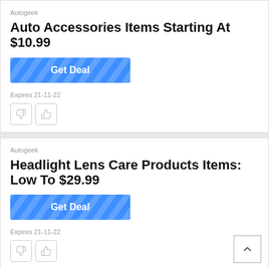Autogeek
Auto Accessories Items Starting At $10.99
[Figure (other): Blue 'Get Deal' button with diagonal stripe pattern]
Expires 21-11-22
[Figure (other): Thumbs down and thumbs up icon buttons]
Autogeek
Headlight Lens Care Products Items: Low To $29.99
[Figure (other): Blue 'Get Deal' button with diagonal stripe pattern]
Expires 21-11-22
[Figure (other): Thumbs down and thumbs up icon buttons, and scroll-to-top arrow button]